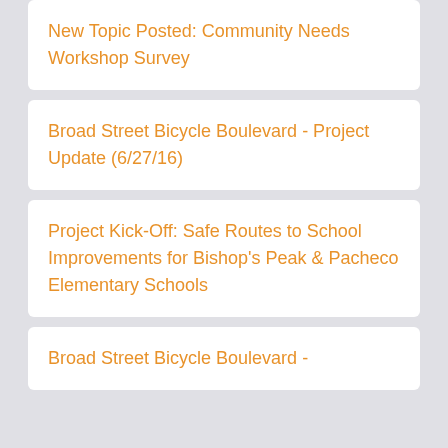New Topic Posted: Community Needs Workshop Survey
Broad Street Bicycle Boulevard - Project Update (6/27/16)
Project Kick-Off: Safe Routes to School Improvements for Bishop's Peak & Pacheco Elementary Schools
Broad Street Bicycle Boulevard -